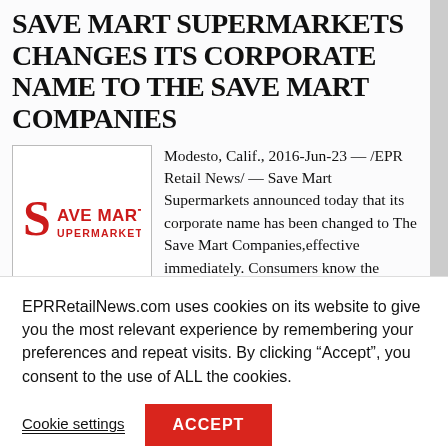SAVE MART SUPERMARKETS CHANGES ITS CORPORATE NAME TO THE SAVE MART COMPANIES
[Figure (logo): Save Mart Supermarkets logo: red stylized 'S' with 'AVE MART' in bold red uppercase and 'UPERMARKETS' in smaller red text below]
Modesto, Calif., 2016-Jun-23 — /EPR Retail News/ — Save Mart Supermarkets announced today that its corporate name has been changed to The Save Mart Companies,effective immediately. Consumers know the company as their local grocery store operation
EPRRetailNews.com uses cookies on its website to give you the most relevant experience by remembering your preferences and repeat visits. By clicking “Accept”, you consent to the use of ALL the cookies.